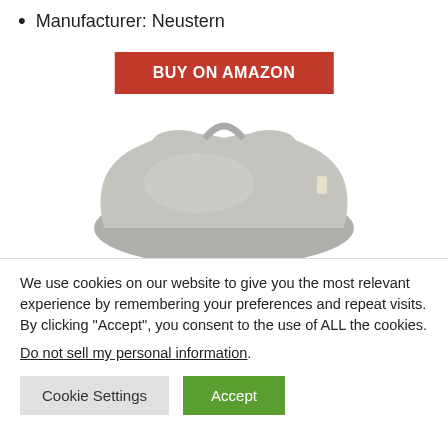Manufacturer: Neustern
[Figure (other): Red button reading BUY ON AMAZON in white bold text]
[Figure (photo): A gray wedge-shaped pillow/cushion with a handle on top and a tag on the side, viewed from the front]
We use cookies on our website to give you the most relevant experience by remembering your preferences and repeat visits. By clicking “Accept”, you consent to the use of ALL the cookies.
Do not sell my personal information.
Cookie Settings  Accept